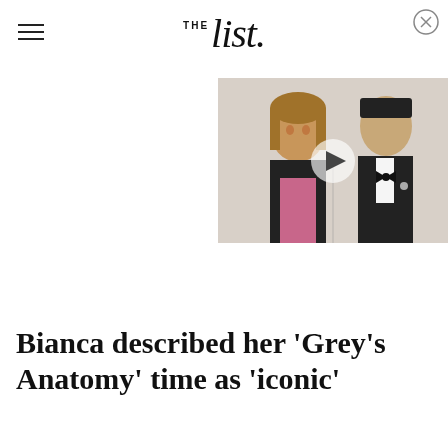THE List
[Figure (photo): Video thumbnail showing two people at a formal event — a woman in a black lace-trimmed pink outfit and a man in a tuxedo with bow tie, with a play button overlay]
Bianca described her 'Grey's Anatomy' time as 'iconic'